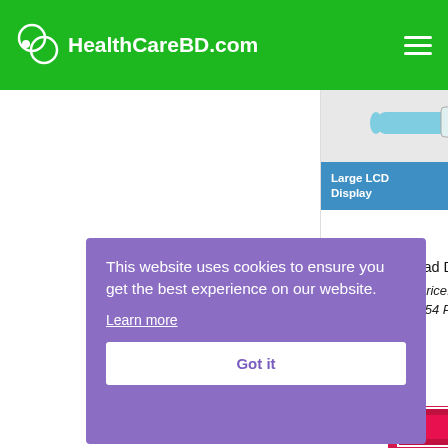HealthCareBD.com
[Figure (screenshot): ADC Fast Read Digital Thermometer product card showing thermometer image and blue LCD display / 8 Seconds badge banner]
ADC Fast Read Digital Thermometer
Amazon.com Price: $12.99 (as of 23/08/2022 15:54 PST
This website uses cookies to ensure you get the best experience on our website.
Learn more
Got it
[Figure (photo): Pink/red product box partially visible at bottom of page]